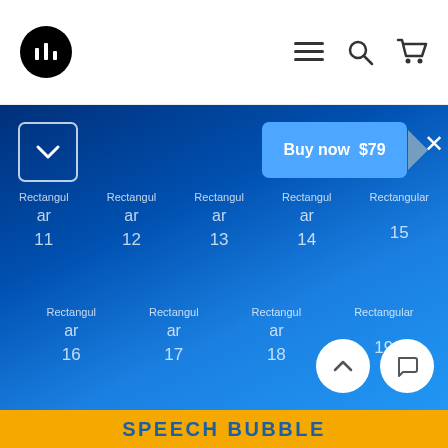Navigation bar with logo, menu, search, and cart icons
[Figure (screenshot): Blue product listing page showing rectangular items numbered 11-19 with a 'Buy now $79' button and dropdown, plus a yellow footer with 'SPEECH BUBBLE' text]
Rectangular 11, Rectangular 12, Rectangular 13, Rectangular 14, Rectangular 15
Rectangular 16, Rectangular 17, Rectangular 18, Rectangular 19
Buy now $79
SPEECH BUBBLE